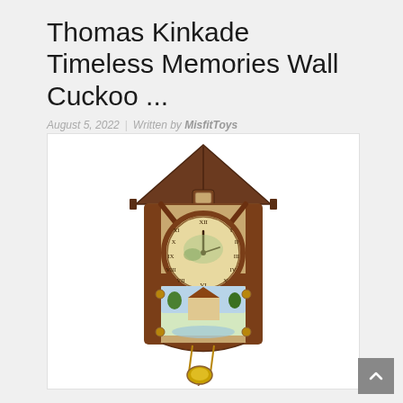Thomas Kinkade Timeless Memories Wall Cuckoo ...
August 5, 2022 | Written by MisfitToys
[Figure (photo): A decorative Thomas Kinkade themed cuckoo clock with a house-shaped wooden frame, a clock face with Roman numerals showing a painted landscape scene in the center, a painted cottage scene panel below the clock, and a pendulum with a gold bob hanging at the bottom.]